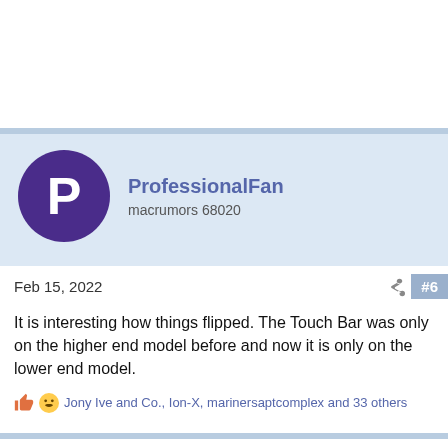[Figure (other): White empty space at the top of the page (advertisement or blank area)]
ProfessionalFan
macrumors 68020
Feb 15, 2022   #6
It is interesting how things flipped. The Touch Bar was only on the higher end model before and now it is only on the lower end model.
Jony Ive and Co., Ion-X, marinersaptcomplex and 33 others
base08
macrumors newbie